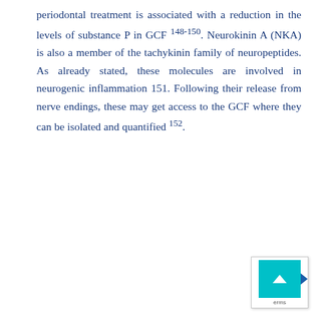periodontal treatment is associated with a reduction in the levels of substance P in GCF 148-150. Neurokinin A (NKA) is also a member of the tachykinin family of neuropeptides. As already stated, these molecules are involved in neurogenic inflammation 151. Following their release from nerve endings, these may get access to the GCF where they can be isolated and quantified 152.
[Figure (other): A teal/cyan colored scroll-to-top button widget with a white upward chevron arrow and a small blue play/video icon on the right side, with the label 'erms' partially visible.]